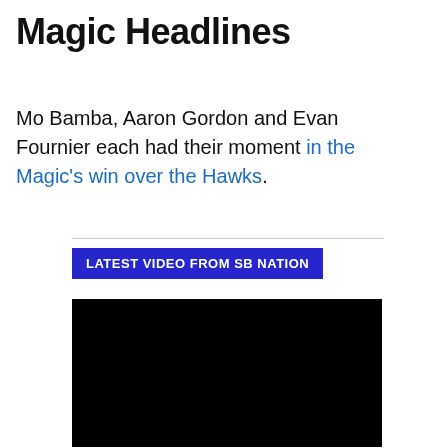Magic Headlines
Mo Bamba, Aaron Gordon and Evan Fournier each had their moment in the Magic’s win over the Hawks.
[Figure (other): A blue button labeled LATEST VIDEO FROM SB NATION followed by a black video player rectangle]